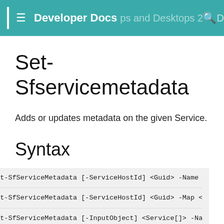Developer Docs  Apps and Desktops 2109 SDK
Set-Sfservicemetadata
Adds or updates metadata on the given Service.
Syntax
Set-SfServiceMetadata [-ServiceHostId] <Guid> -Name <
Set-SfServiceMetadata [-ServiceHostId] <Guid> -Map <P
Set-SfServiceMetadata [-InputObject] <Service[]> -Nam
Set-SfServiceMetadata [-InputObject] <Service[]> -Map